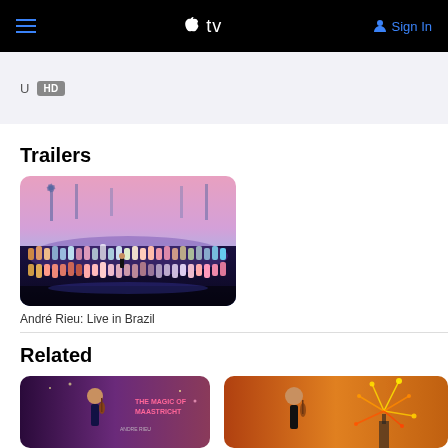Apple TV — navigation bar with hamburger menu, Apple TV logo, Sign In button
U  HD
Trailers
[Figure (photo): Concert scene: André Rieu orchestra performing on stage with Dutch windmill backdrop and pink sky, colorfully dressed musicians and choir]
André Rieu: Live in Brazil
Related
[Figure (photo): André Rieu holding violin against purple/dark background, The Magic of Maastricht text visible]
[Figure (photo): André Rieu holding violin with fireworks in background on warm orange/gold background]